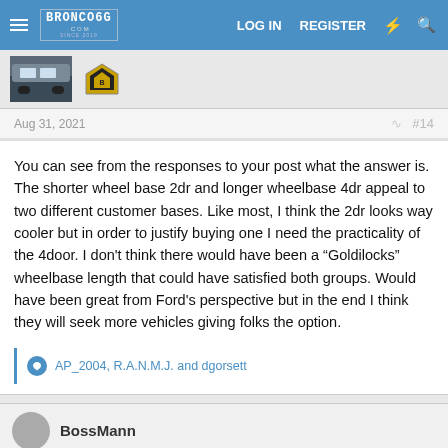Bronco6G.com — LOG IN  REGISTER
[Figure (screenshot): User avatar showing a vehicle in snow, and a Bronco badge logo]
Aug 31, 2021  #14
You can see from the responses to your post what the answer is. The shorter wheel base 2dr and longer wheelbase 4dr appeal to two different customer bases. Like most, I think the 2dr looks way cooler but in order to justify buying one I need the practicality of the 4door. I don't think there would have been a "Goldilocks" wheelbase length that could have satisfied both groups. Would have been great from Ford's perspective but in the end I think they will seek more vehicles giving folks the option.
AP_2004, R.A.N.M.J. and dgorsett
BossMann